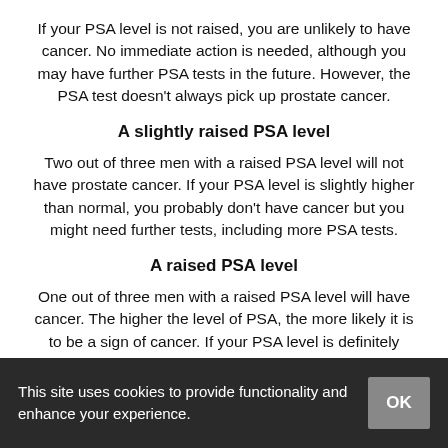If your PSA level is not raised, you are unlikely to have cancer. No immediate action is needed, although you may have further PSA tests in the future. However, the PSA test doesn't always pick up prostate cancer.
A slightly raised PSA level
Two out of three men with a raised PSA level will not have prostate cancer. If your PSA level is slightly higher than normal, you probably don't have cancer but you might need further tests, including more PSA tests.
A raised PSA level
One out of three men with a raised PSA level will have cancer. The higher the level of PSA, the more likely it is to be a sign of cancer. If your PSA level is definitely raised, your GP will
This site uses cookies to provide functionality and enhance your experience.